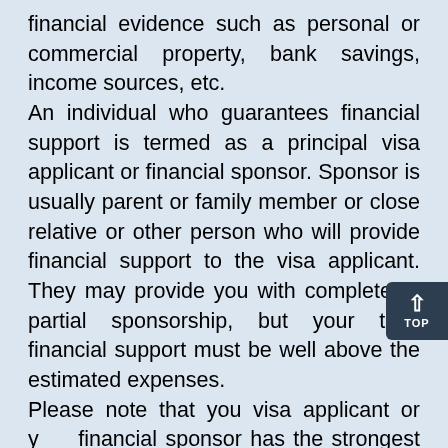financial evidence such as personal or commercial property, bank savings, income sources, etc. An individual who guarantees financial support is termed as a principal visa applicant or financial sponsor. Sponsor is usually parent or family member or close relative or other person who will provide financial support to the visa applicant. They may provide you with complete or partial sponsorship, but your total financial support must be well above the estimated expenses. Please note that you visa applicant or your financial sponsor has the strongest hold on declaring the Affidavit of Financial Support if supported with enough source of funds. You visa applicant should submit the evidence of funds that are in your own name through Affidavit of